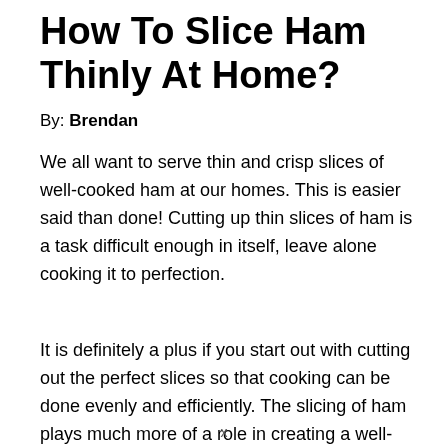How To Slice Ham Thinly At Home?
By: Brendan
We all want to serve thin and crisp slices of well-cooked ham at our homes. This is easier said than done! Cutting up thin slices of ham is a task difficult enough in itself, leave alone cooking it to perfection.
It is definitely a plus if you start out with cutting out the perfect slices so that cooking can be done evenly and efficiently. The slicing of ham plays much more of a role in creating a well-cooked dish than people
x